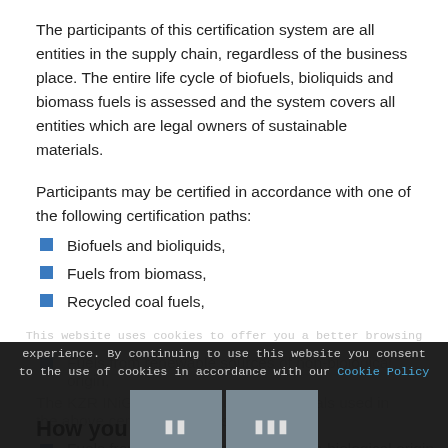The participants of this certification system are all entities in the supply chain, regardless of the business place. The entire life cycle of biofuels, bioliquids and biomass fuels is assessed and the system covers all entities which are legal owners of sustainable materials.
Participants may be certified in accordance with one of the following certification paths:
Biofuels and bioliquids,
Fuels from biomass,
Recycled coal fuels,
Fuels from renewable sources of non-biological origin,
The KZR INiG system includes all materials used in the above certification paths.
This website uses cookies to offer you a better browsing experience. By continuing to use this website you consent to the use of cookies in accordance with our Cookie Policy
How you benefit